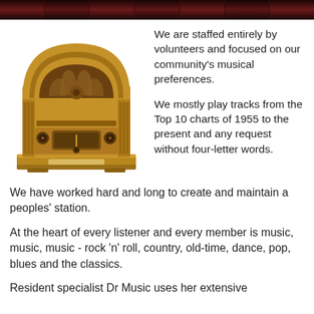[Figure (photo): Vintage wooden cathedral-style radio from circa 1930s-1940s, brown wood finish with arched top, decorative speaker grille, and tuning knobs]
We are staffed entirely by volunteers and focused on our community's musical preferences.
We mostly play tracks from the Top 10 charts of 1955 to the present and any request without four-letter words.
We have worked hard and long to create and maintain a peoples' station.
At the heart of every listener and every member is music, music, music - rock 'n' roll, country, old-time, dance, pop, blues and the classics.
Resident specialist Dr Music uses her extensive